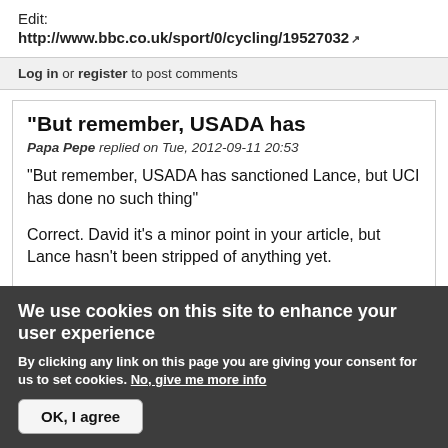Edit:
http://www.bbc.co.uk/sport/0/cycling/19527032
Log in or register to post comments
"But remember, USADA has
Papa Pepe replied on Tue, 2012-09-11 20:53
"But remember, USADA has sanctioned Lance, but UCI has done no such thing"
Correct. David it's a minor point in your article, but Lance hasn't been stripped of anything yet.
We use cookies on this site to enhance your user experience
By clicking any link on this page you are giving your consent for us to set cookies. No, give me more info
OK, I agree